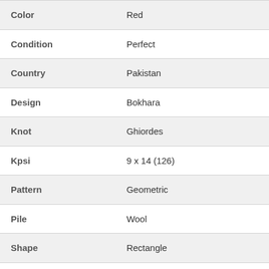| Attribute | Value |
| --- | --- |
| Color | Red |
| Condition | Perfect |
| Country | Pakistan |
| Design | Bokhara |
| Knot | Ghiordes |
| Kpsi | 9 x 14 (126) |
| Pattern | Geometric |
| Pile | Wool |
| Shape | Rectangle |
| SKU | 60486 |
|  | N... |